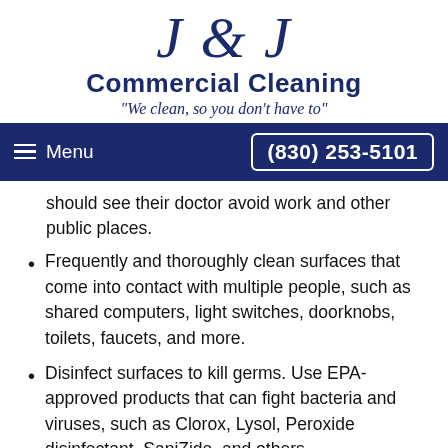J & J Commercial Cleaning "We clean, so you don't have to"
Menu  (830) 253-5101
should see their doctor avoid work and other public places.
Frequently and thoroughly clean surfaces that come into contact with multiple people, such as shared computers, light switches, doorknobs, toilets, faucets, and more.
Disinfect surfaces to kill germs. Use EPA-approved products that can fight bacteria and viruses, such as Clorox, Lysol, Peroxide disinfectant, SaniZide, and others.